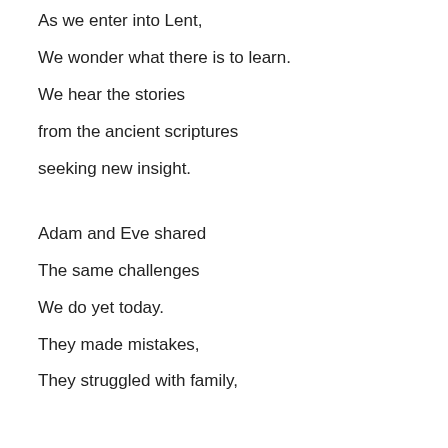As we enter into Lent,
We wonder what there is to learn.
We hear the stories
from the ancient scriptures
seeking new insight.
Adam and Eve shared
The same challenges
We do yet today.
They made mistakes,
They struggled with family,